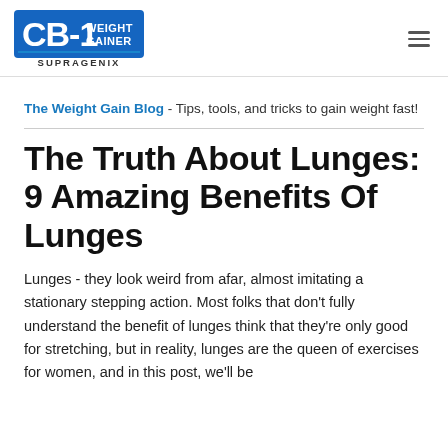CB-1 Weight Gainer - Supragenix [logo]
The Weight Gain Blog - Tips, tools, and tricks to gain weight fast!
The Truth About Lunges: 9 Amazing Benefits Of Lunges
Lunges - they look weird from afar, almost imitating a stationary stepping action. Most folks that don't fully understand the benefit of lunges think that they're only good for stretching, but in reality, lunges are the queen of exercises for women, and in this post, we'll be